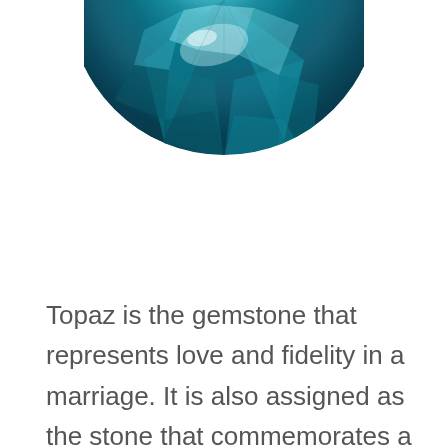[Figure (photo): A close-up photograph of a round-cut blue topaz gemstone, showing deep teal and cyan facets with reflective light patterns. Only the bottom half of the gem is visible, cropped at the top of the image.]
Topaz is the gemstone that represents love and fidelity in a marriage. It is also assigned as the stone that commemorates a couple's 4th wedding anniversary.